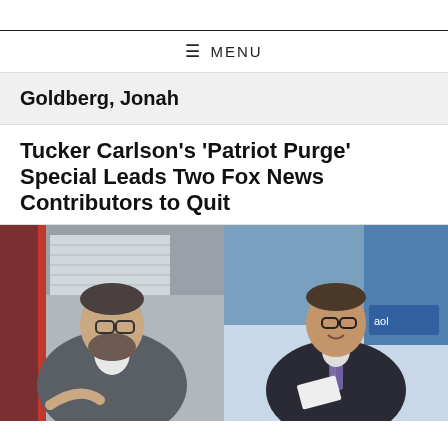≡ MENU
Goldberg, Jonah
Tucker Carlson's 'Patriot Purge' Special Leads Two Fox News Contributors to Quit
[Figure (photo): Two side-by-side photos: left photo shows a man with glasses and beard seated casually in a grey jacket and jeans; right photo shows a man with glasses in a dark suit and tie seated on stage at an event.]